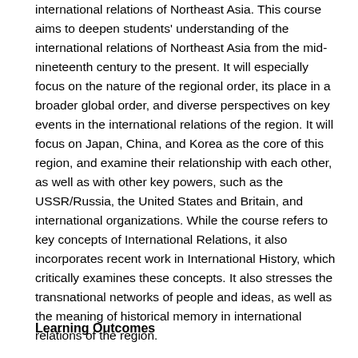international relations of Northeast Asia. This course aims to deepen students' understanding of the international relations of Northeast Asia from the mid-nineteenth century to the present. It will especially focus on the nature of the regional order, its place in a broader global order, and diverse perspectives on key events in the international relations of the region. It will focus on Japan, China, and Korea as the core of this region, and examine their relationship with each other, as well as with other key powers, such as the USSR/Russia, the United States and Britain, and international organizations. While the course refers to key concepts of International Relations, it also incorporates recent work in International History, which critically examines these concepts. It also stresses the transnational networks of people and ideas, as well as the meaning of historical memory in international relations of the region.
Learning Outcomes